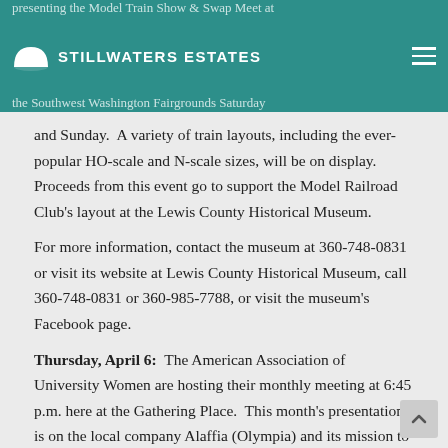presenting the Model Train Show & Swap Meet at the Southwest Washington Fairgrounds Saturday
[Figure (logo): Stillwaters Estates logo with white semicircle icon and bold white text]
and Sunday.  A variety of train layouts, including the ever-popular HO-scale and N-scale sizes, will be on display. Proceeds from this event go to support the Model Railroad Club's layout at the Lewis County Historical Museum.
For more information, contact the museum at 360-748-0831 or visit its website at Lewis County Historical Museum, call 360-748-0831 or 360-985-7788, or visit the museum's Facebook page.
Thursday, April 6:  The American Association of University Women are hosting their monthly meeting at 6:45 p.m. here at the Gathering Place.  This month's presentation is on the local company Alaffia (Olympia) and its mission to bring healthful products to it's customers while raising